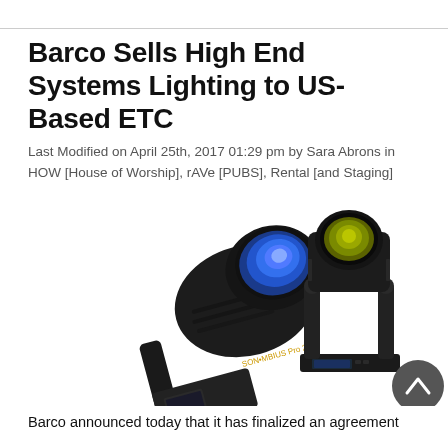Barco Sells High End Systems Lighting to US-Based ETC
Last Modified on April 25th, 2017 01:29 pm by Sara Abrons in HOW [House of Worship], rAVe [PUBS], Rental [and Staging]
[Figure (photo): Two professional moving head stage lighting fixtures on white background. Left fixture is large with blue lens tilted at an angle. Right fixture is smaller with yellow-green lens in upright position on base.]
Barco announced today that it has finalized an agreement